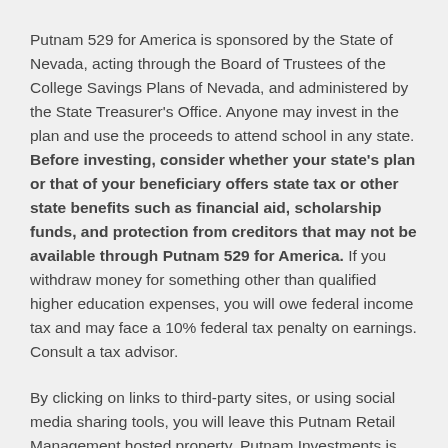Putnam 529 for America is sponsored by the State of Nevada, acting through the Board of Trustees of the College Savings Plans of Nevada, and administered by the State Treasurer's Office. Anyone may invest in the plan and use the proceeds to attend school in any state. Before investing, consider whether your state's plan or that of your beneficiary offers state tax or other state benefits such as financial aid, scholarship funds, and protection from creditors that may not be available through Putnam 529 for America. If you withdraw money for something other than qualified higher education expenses, you will owe federal income tax and may face a 10% federal tax penalty on earnings. Consult a tax advisor.
By clicking on links to third-party sites, or using social media sharing tools, you will leave this Putnam Retail Management hosted property. Putnam Investments is not responsible for the content or services offered on linked websites. Use linked websites